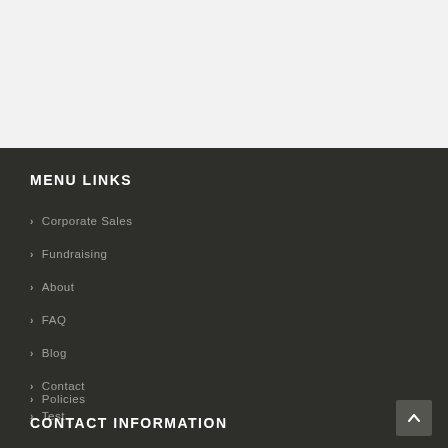MENU LINKS
> Corporate Sales
> Fundraising
> About
> FAQ
> Blog
> Contact
> Policies
> Test
CONTACT INFORMATION